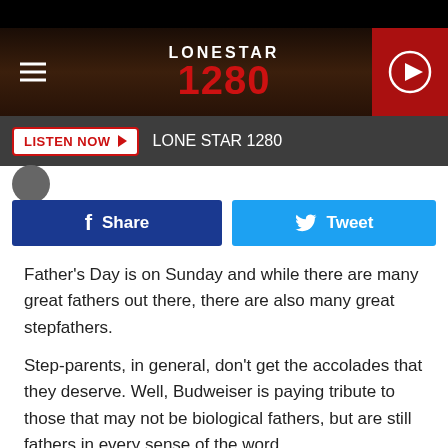[Figure (screenshot): Lonestar 1280 radio station website header with logo, hamburger menu, play button, and Listen Now bar]
[Figure (other): Facebook Share and Twitter Tweet social sharing buttons]
Father's Day is on Sunday and while there are many great fathers out there, there are also many great stepfathers.
Step-parents, in general, don't get the accolades that they deserve. Well, Budweiser is paying tribute to those that may not be biological fathers, but are still fathers in every sense of the word.
Step-fathers may have a difficult time...